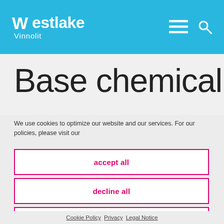Westlake Vinnolit
Base chemical
We use cookies to optimize our website and our services. For our policies, please visit our
accept all
decline all
View preferences
Cookie Policy  Privacy  Legal Notice